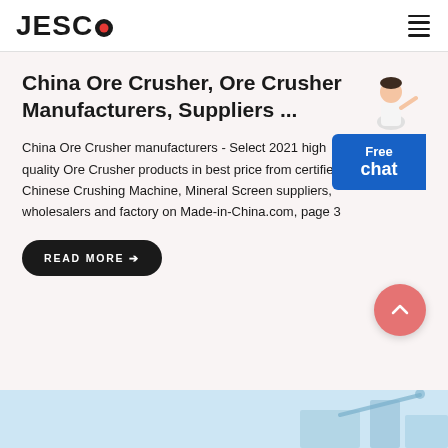JESCO
China Ore Crusher, Ore Crusher Manufacturers, Suppliers ...
China Ore Crusher manufacturers - Select 2021 high quality Ore Crusher products in best price from certified Chinese Crushing Machine, Mineral Screen suppliers, wholesalers and factory on Made-in-China.com, page 3
[Figure (illustration): Black rounded rectangle button with white uppercase text READ MORE and right arrow]
[Figure (illustration): Blue Free chat widget with a person/representative illustration above it]
[Figure (illustration): Red circular scroll-to-top button with upward chevron arrow]
[Figure (photo): Bottom strip showing partial industrial machinery photo on light blue background]